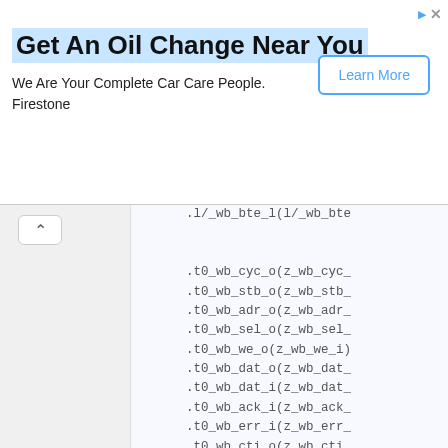[Figure (screenshot): Advertisement banner for Firestone oil change service with 'Learn More' button]
Get An Oil Change Near You
We Are Your Complete Car Care People.
Firestone
.l/_wb_bte_l(l/_wb_bte
.t0_wb_cyc_o(z_wb_cyc_
.t0_wb_stb_o(z_wb_stb_
.t0_wb_adr_o(z_wb_adr_
.t0_wb_sel_o(z_wb_sel_
.t0_wb_we_o(z_wb_we_i)
.t0_wb_dat_o(z_wb_dat_
.t0_wb_dat_i(z_wb_dat_
.t0_wb_ack_i(z_wb_ack_
.t0_wb_err_i(z_wb_err_
.t0_wb_cti_o(z_wb_cti_
.t0_wb_bte_o(z_wb_bte_
);
//
// From initiators to targets
//
tc_si_to_mt #(t1_addr_w, t1_ad